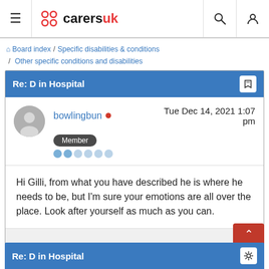carersuk — site navigation header with hamburger menu, logo, search and user icons
Board index / Specific disabilities & conditions / Other specific conditions and disabilities
Re: D in Hospital
bowlingbun • Tue Dec 14, 2021 1:07 pm — Member
Hi Gilli, from what you have described he is where he needs to be, but I'm sure your emotions are all over the place. Look after yourself as much as you can.
Re: D in Hospital